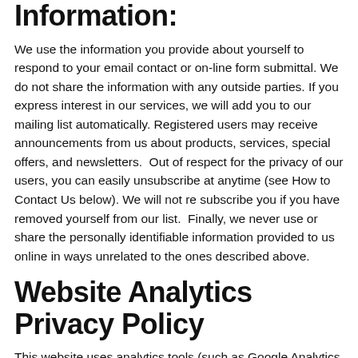Information:
We use the information you provide about yourself to respond to your email contact or on-line form submittal. We do not share the information with any outside parties. If you express interest in our services, we will add you to our mailing list automatically. Registered users may receive announcements from us about products, services, special offers, and newsletters.  Out of respect for the privacy of our users, you can easily unsubscribe at anytime (see How to Contact Us below). We will not re subscribe you if you have removed yourself from our list.  Finally, we never use or share the personally identifiable information provided to us online in ways unrelated to the ones described above.
Website Analytics Privacy Policy
This website uses analytics tools (such as Google Analytics, a web analytics service provided by Google,